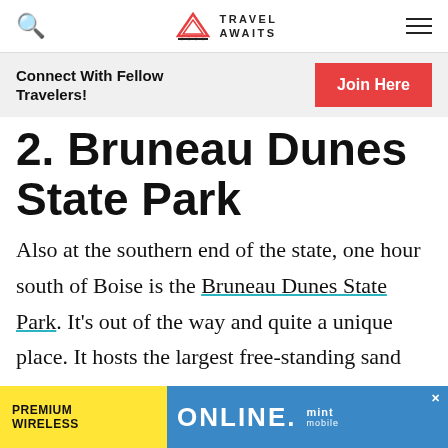Travel Awaits
Connect With Fellow Travelers! Join Here
2. Bruneau Dunes State Park
Also at the southern end of the state, one hour south of Boise is the Bruneau Dunes State Park. It's out of the way and quite a unique place. It hosts the largest free-standing sand dunes...
[Figure (other): Advertisement banner: PREMIUM WIRELESS ONLINE. mint mobile]